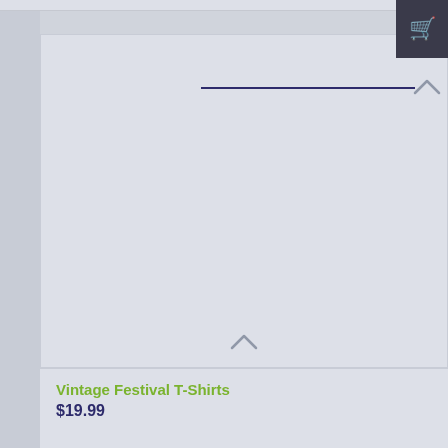[Figure (screenshot): E-commerce product listing screenshot showing a shopping cart button in top right corner, a large product image placeholder area with a dark blue horizontal line near the top and chevron arrows, and a product info strip at the bottom showing product name and price.]
Vintage Festival T-Shirts
$19.99